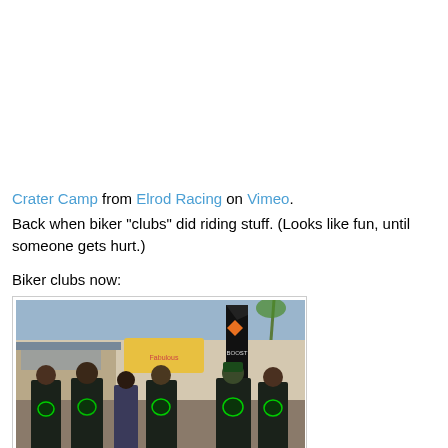Crater Camp from Elrod Racing on Vimeo.
Back when biker "clubs" did riding stuff. (Looks like fun, until someone gets hurt.)
Biker clubs now:
[Figure (photo): A group of people wearing matching dark leather biker club jackets with green patches, walking through what appears to be an outdoor fair or market area. A tall black banner/flag is visible in the background along with storefronts and palm trees.]